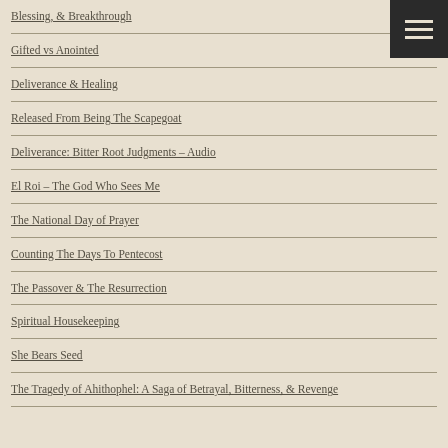Blessing, & Breakthrough
Gifted vs Anointed
Deliverance & Healing
Released From Being The Scapegoat
Deliverance: Bitter Root Judgments – Audio
El Roi – The God Who Sees Me
The National Day of Prayer
Counting The Days To Pentecost
The Passover & The Resurrection
Spiritual Housekeeping
She Bears Seed
The Tragedy of Ahithophel: A Saga of Betrayal, Bitterness, & Revenge